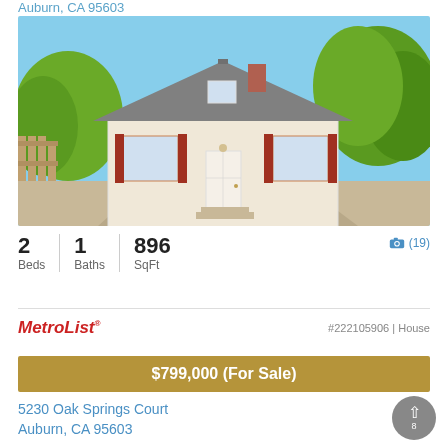Auburn, CA 95603
[Figure (photo): Exterior photo of a small white/cream single-story house with red shutters, a front door, steps, gravel driveway, and green trees in the background. Sunny day.]
2 Beds | 1 Baths | 896 SqFt
📷 (19)
MetroList® #222105906 | House
$799,000 (For Sale)
5230 Oak Springs Court
Auburn, CA 95603